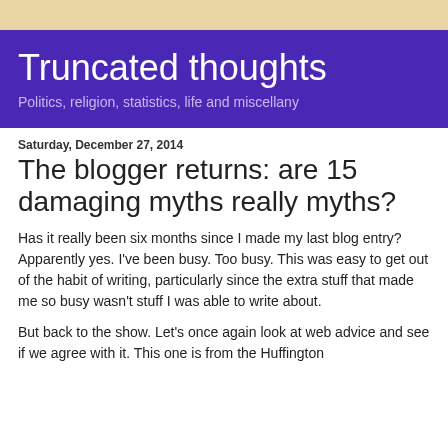Truncated thoughts
Politics, religion, statistics, life and miscellany
Saturday, December 27, 2014
The blogger returns: are 15 damaging myths really myths?
Has it really been six months since I made my last blog entry?  Apparently yes.  I've been busy. Too busy.  This was easy to get out of the habit of writing, particularly since the extra stuff that made me so busy wasn't stuff I was able to write about.
But back to the show. Let's once again look at web advice and see if we agree with it.  This one is from the Huffington